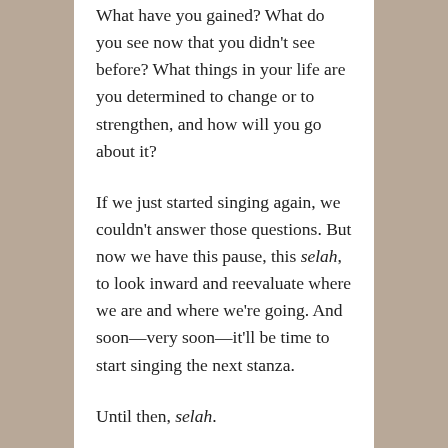What have you gained? What do you see now that you didn't see before? What things in your life are you determined to change or to strengthen, and how will you go about it?
If we just started singing again, we couldn't answer those questions. But now we have this pause, this selah, to look inward and reevaluate where we are and where we're going. And soon—very soon—it'll be time to start singing the next stanza.
Until then, selah.